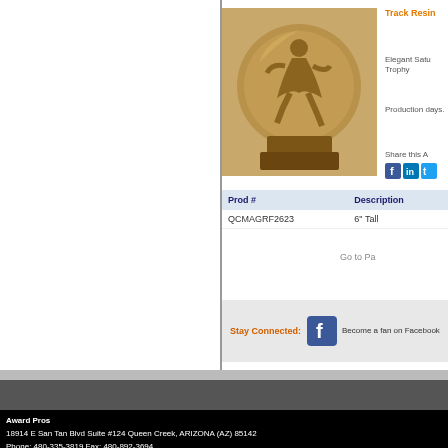[Figure (photo): Bronze resin track running female athlete trophy on pedestal base]
Track Resin
Elegant Satu Trophy
Production days.
Share this A
| Prod # | Description |
| --- | --- |
| QCMAGRF2623 | 6" Tall |
Go to Pa
Stay Connected: Become a fan on Facebook
Award Pros
18914 E San Tan Blvd Suite #124 Queen Creek, ARIZONA (AZ) 85142
Phone: 480-335-3819 Fax: 480-892-3694